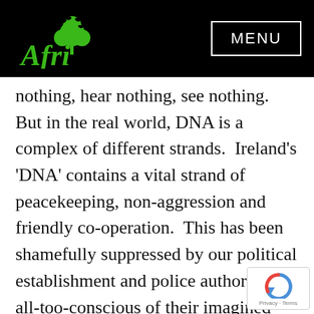[Figure (logo): Afri organization logo: green tree icon above green text 'Afri' on black background]
MENU
nothing, hear nothing, see nothing.  But in the real world, DNA is a complex of different strands.  Ireland's 'DNA' contains a vital strand of peacekeeping, non-aggression and friendly co-operation.  This has been shamefully suppressed by our political establishment and police authorities, all-too-conscious of their imagined role among the high and mighty, all-too-contemptuous of basic human rights at home and abroad.  Our conniving in illegal aggression and the denial of human rights is a lamentable stain on Ireland's role in world affairs.  The continuing pressure for further